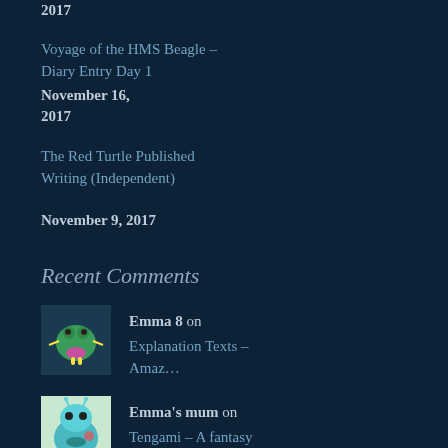2017
Voyage of the HMS Beagle – Diary Entry Day 1 November 16, 2017
The Red Turtle Published Writing (Independent) November 9, 2017
Recent Comments
Emma 8 on
Explanation Texts – Amaz…
Emma's mum on
Tengami – A fantasy stor…